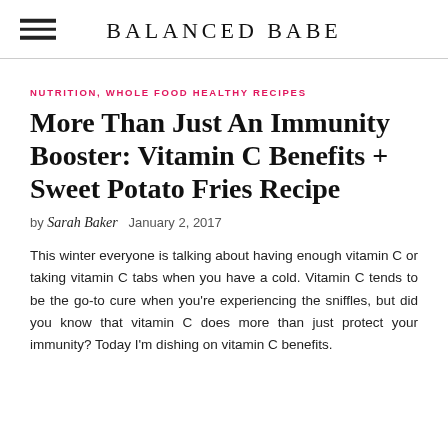BALANCED BABE
NUTRITION, WHOLE FOOD HEALTHY RECIPES
More Than Just An Immunity Booster: Vitamin C Benefits + Sweet Potato Fries Recipe
by Sarah Baker  January 2, 2017
This winter everyone is talking about having enough vitamin C or taking vitamin C tabs when you have a cold. Vitamin C tends to be the go-to cure when you're experiencing the sniffles, but did you know that vitamin C does more than just protect your immunity? Today I'm dishing on vitamin C benefits.